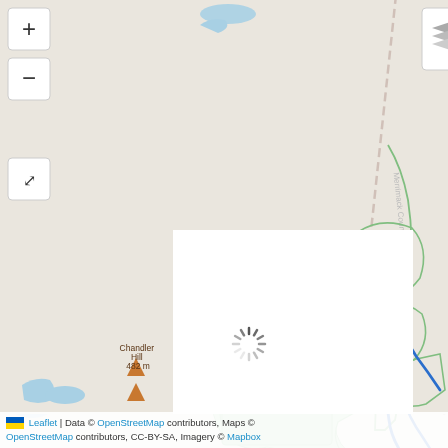[Figure (map): OpenStreetMap/Leaflet interactive map showing terrain around Sunapee Mountain area in New Hampshire. Features include: North Peak (692 m), Summit (828 m), Sunapee Mountain (824 m), Chandler Hill (482 m), Thompson Hill (503 m), Lucias Lookout (756 m). A dashed road labeled 'Merrimack County' runs diagonally. Green trail outlines on right side. Blue river/stream. Green shaded areas near bottom center. Lakes/ponds in light blue. Map controls (zoom +/-) and fullscreen button on top-left. Layer switcher button top-right. Loading spinner overlay in center. Ukraine flag with Leaflet attribution at bottom.]
🇺🇦 Leaflet | Data © OpenStreetMap contributors, Maps © OpenStreetMap contributors, CC-BY-SA, Imagery © Mapbox